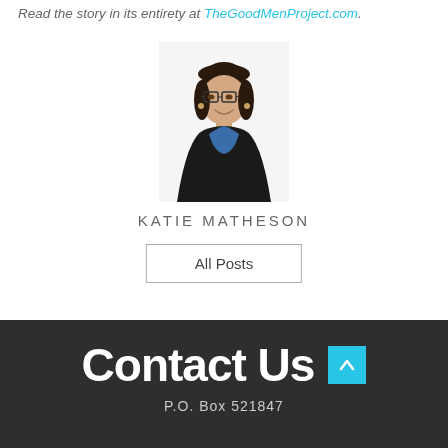Read the story in its entirety at TheGoodMenProject.com.
[Figure (photo): Headshot photo of Katie Matheson, a woman with glasses and dark hair pulled up, wearing a dark blazer over a blue top, smiling at the camera.]
KATIE MATHESON
All Posts
Contact Us
P.O. Box 521847